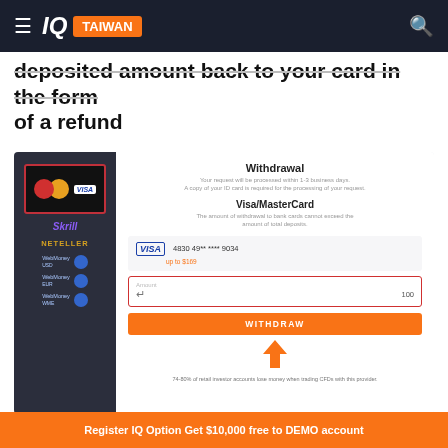IQ TAIWAN
deposited amount back to your card in the form of a refund
[Figure (screenshot): Screenshot of IQ Option withdrawal interface showing Visa/MasterCard withdrawal form with payment method sidebar (Skrill, Neteller, WebMoney options), withdrawal title, card info showing VISA 4830 49** **** 9034 up to $169, amount input field, and orange WITHDRAW button with upward arrow annotation. Disclaimer: 74-80% of retail investor accounts lose money when trading CFDs with this provider.]
Refund successfully
Register IQ Option Get $10,000 free to DEMO account